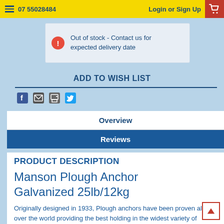07 55028484  Login or Sign Up
Out of stock - Contact us for expected delivery date
ADD TO WISH LIST
[Figure (other): Social share icons: Facebook, Email, Print, Twitter]
Overview
Reviews
PRODUCT DESCRIPTION
Manson Plough Anchor Galvanized 25lb/12kg
Originally designed in 1933, Plough anchors have been proven all over the world providing the best holding in the widest variety of weather